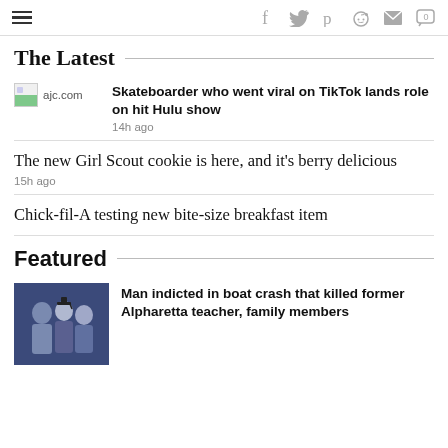Navigation and social icons bar
The Latest
ajc.com — Skateboarder who went viral on TikTok lands role on hit Hulu show — 14h ago
The new Girl Scout cookie is here, and it's berry delicious — 15h ago
Chick-fil-A testing new bite-size breakfast item
Featured
Man indicted in boat crash that killed former Alpharetta teacher, family members